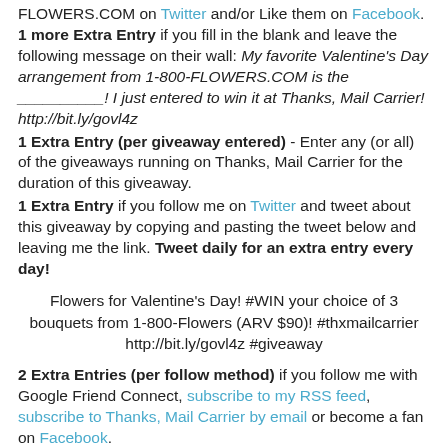FLOWERS.COM on Twitter and/or Like them on Facebook. 1 more Extra Entry if you fill in the blank and leave the following message on their wall: My favorite Valentine's Day arrangement from 1-800-FLOWERS.COM is the __________! I just entered to win it at Thanks, Mail Carrier! http://bit.ly/govl4z
1 Extra Entry (per giveaway entered) - Enter any (or all) of the giveaways running on Thanks, Mail Carrier for the duration of this giveaway.
1 Extra Entry if you follow me on Twitter and tweet about this giveaway by copying and pasting the tweet below and leaving me the link. Tweet daily for an extra entry every day!
Flowers for Valentine's Day! #WIN your choice of 3 bouquets from 1-800-Flowers (ARV $90)! #thxmailcarrier http://bit.ly/govl4z #giveaway
2 Extra Entries (per follow method) if you follow me with Google Friend Connect, subscribe to my RSS feed, subscribe to Thanks, Mail Carrier by email or become a fan on Facebook.